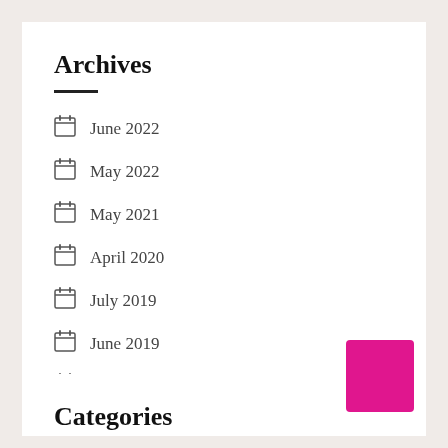Archives
June 2022
May 2022
May 2021
April 2020
July 2019
June 2019
May 2012
Categories